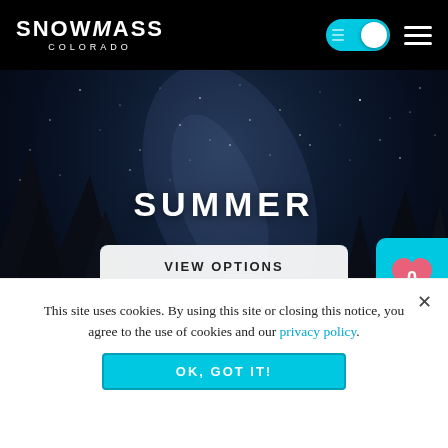SNOWMASS COLORADO
[Figure (screenshot): Snowmass Colorado website screenshot showing a night sky hero image with pine tree silhouettes, the text SUMMER, and a VIEW OPTIONS button]
SUMMER
VIEW OPTIONS
0
This site uses cookies. By using this site or closing this notice, you agree to the use of cookies and our privacy policy.
OK, GOT IT!